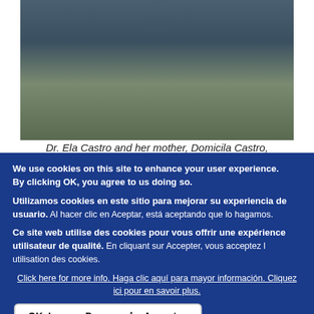[Figure (photo): Photo of boxes and bags of medications/supplies loaded in what appears to be a vehicle or storage area, viewed from above at an angle.]
Dr. Ela Castro and her mother, Domicila Castro, prepare to distribute medication in December 2020 to people who were injured or ill following Hurricane Iota.
We use cookies on this site to enhance your user experience. By clicking OK, you agree to us doing so.
Utilizamos cookies en este sitio para mejorar su experiencia de usuario. Al hacer clic en Aceptar, está aceptando que lo hagamos.
Ce site web utilise des cookies pour vous offrir une expérience utilisateur de qualité. En cliquant sur Accepter, vous acceptez l utilisation des cookies.
Click here for more info. Haga clic aquí para mayor información. Cliquez ici pour en savoir plus.
OK, I agree. De acuerdo. Accepter.
No, thanks. No, gracias. Non merci.